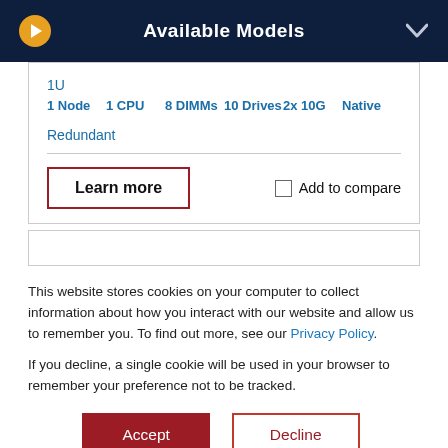Available Models
1U
1 Node   1 CPU   8 DIMMs   10 Drives   2x 10G   Native
Redundant
Learn more
Add to compare
This website stores cookies on your computer to collect information about how you interact with our website and allow us to remember you. To find out more, see our Privacy Policy.
If you decline, a single cookie will be used in your browser to remember your preference not to be tracked.
Accept
Decline